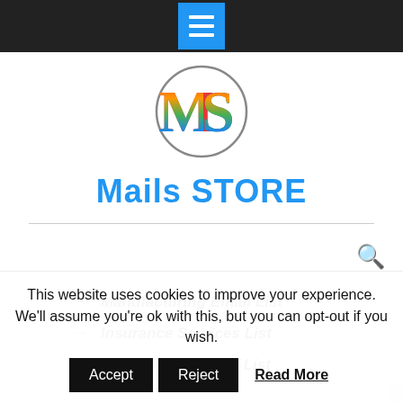Mails STORE — navigation bar with hamburger menu
[Figure (logo): Circular logo with colorful letters MS in rainbow colors]
Mails STORE
→ Manufacturing Email List
→ Insurance Services List
→ Education Industry List
This website uses cookies to improve your experience. We'll assume you're ok with this, but you can opt-out if you wish.
Accept  Reject  Read More